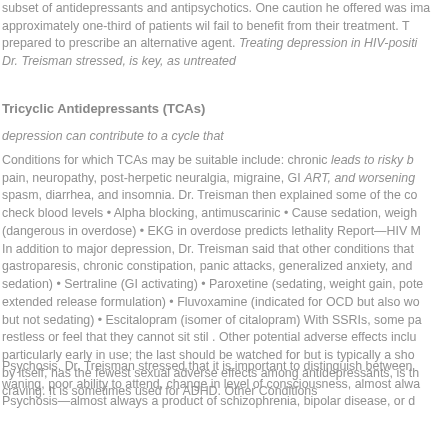subset of antidepressants and antipsychotics. One caution he offered was that approximately one-third of patients wil fail to benefit from their treatment. The clinician must be prepared to prescribe an alternative agent. Treating depression in HIV-positive patients, Dr. Treisman stressed, is key, as untreated
Tricyclic Antidepressants (TCAs)
depression can contribute to a cycle that
Conditions for which TCAs may be suitable include: chronic leads to risky b pain, neuropathy, post-herpetic neuralgia, migraine, GI ART, and worsening spasm, diarrhea, and insomnia. Dr. Treisman then explained some of the co check blood levels • Alpha blocking, antimuscarinic • Cause sedation, weigh (dangerous in overdose) • EKG in overdose predicts lethality Report—HIV M In addition to major depression, Dr. Treisman said that other conditions that gastroparesis, chronic constipation, panic attacks, generalized anxiety, and sedation) • Sertraline (GI activating) • Paroxetine (sedating, weight gain, pote extended release formulation) • Fluvoxamine (indicated for OCD but also wo but not sedating) • Escitalopram (isomer of citalopram) With SSRIs, some pa restless or feel that they cannot sit stil . Other potential adverse effects inclu particularly early in use; the last should be watched for but is typically a sho by itself, has the fewest sexual adverse effects among antidepressants, is th craving. It is sometimes used for ADHD. Other Conditions
Psychosis. Dr. Treisman stressed that it is important to distinguish between waning, poor ability to attend, change in level of consciousness, almost alwa Psychosis—almost always a product of schizophrenia, bipolar disease, or d